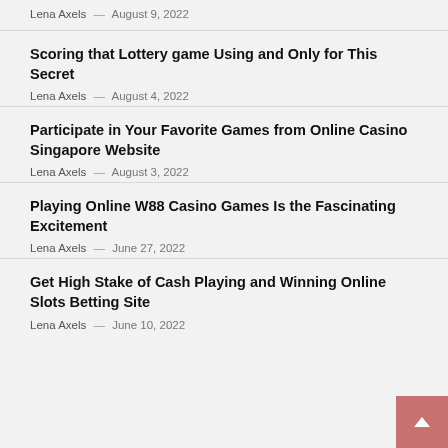Lena Axels — August 9, 2022
Scoring that Lottery game Using and Only for This Secret
Lena Axels — August 4, 2022
Participate in Your Favorite Games from Online Casino Singapore Website
Lena Axels — August 3, 2022
Playing Online W88 Casino Games Is the Fascinating Excitement
Lena Axels — June 27, 2022
Get High Stake of Cash Playing and Winning Online Slots Betting Site
Lena Axels — June 10, 2022